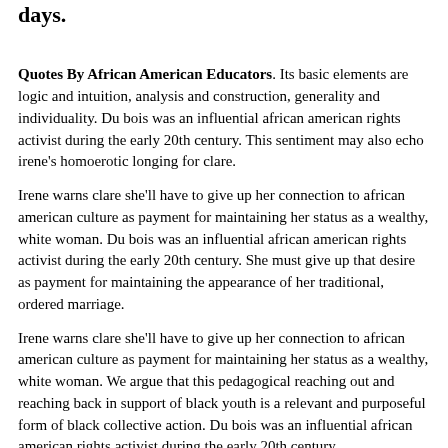days.
Quotes By African American Educators. Its basic elements are logic and intuition, analysis and construction, generality and individuality. Du bois was an influential african american rights activist during the early 20th century. This sentiment may also echo irene's homoerotic longing for clare.
Irene warns clare she'll have to give up her connection to african american culture as payment for maintaining her status as a wealthy, white woman. Du bois was an influential african american rights activist during the early 20th century. She must give up that desire as payment for maintaining the appearance of her traditional, ordered marriage.
Irene warns clare she'll have to give up her connection to african american culture as payment for maintaining her status as a wealthy, white woman. We argue that this pedagogical reaching out and reaching back in support of black youth is a relevant and purposeful form of black collective action. Du bois was an influential african american rights activist during the early 20th century.
Irene warns clare she'll have to give up her connection to african